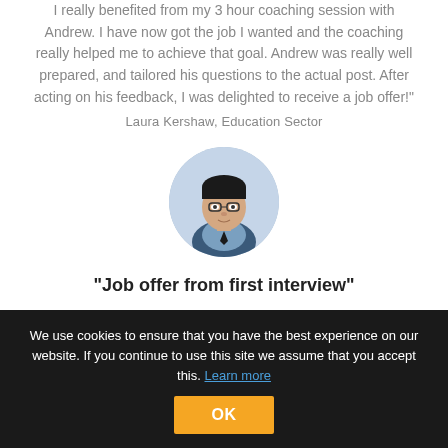I really benefited from my 3 hour coaching session with Andrew. I have now got the job I wanted and the coaching really helped me to achieve that goal. Andrew was really well prepared, and tailored his questions to the actual post. After acting on his feedback, I was delighted to receive a job offer!"
Laura Kershaw, Education Sector
[Figure (photo): Circular portrait photo of a man wearing glasses and a suit]
"Job offer from first interview"
"My first interview since our training was on Tuesday, they invited
We use cookies to ensure that you have the best experience on our website. If you continue to use this site we assume that you accept this. Learn more
OK